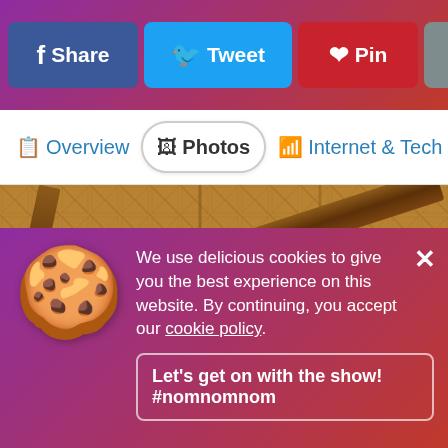Share  Tweet  Pin  ...  Sunset...  ≡
Overview
Photos
Internet & Tech
Ro...
[Figure (photo): Interior ceiling of a tropical bungalow with wooden beams, thatched panels, and a ceiling fan mounted at the center.]
We use delicious cookies to give you the best experience on this website. By continuing, you accept our cookie policy.
Let's get on with the show! #nomnomnom